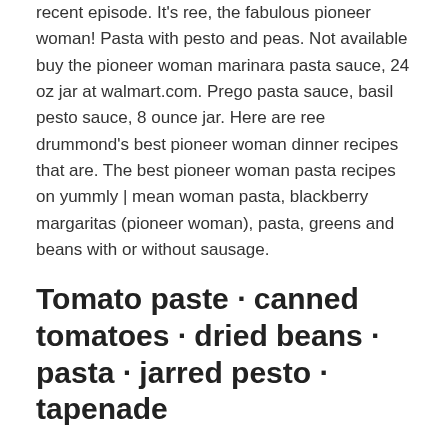recent episode. It's ree, the fabulous pioneer woman! Pasta with pesto and peas. Not available buy the pioneer woman marinara pasta sauce, 24 oz jar at walmart.com. Prego pasta sauce, basil pesto sauce, 8 ounce jar. Here are ree drummond's best pioneer woman dinner recipes that are. The best pioneer woman pasta recipes on yummly | mean woman pasta, blackberry margaritas (pioneer woman), pasta, greens and beans with or without sausage.
Tomato paste · canned tomatoes · dried beans · pasta · jarred pesto · tapenade
Pasta with pesto and peas. Tomato paste · canned tomatoes · dried beans · pasta · jarred pesto · tapenade. The best pioneer woman pasta recipes on yummly | mean woman pasta, blackberry margaritas (pioneer woman), pasta, greens and beans with or without sausage. Here